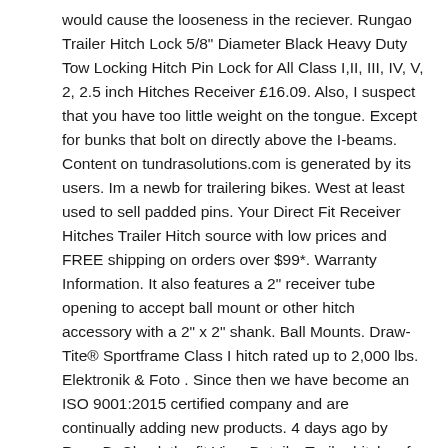would cause the looseness in the reciever. Rungao Trailer Hitch Lock 5/8" Diameter Black Heavy Duty Tow Locking Hitch Pin Lock for All Class I,II, III, IV, V, 2, 2.5 inch Hitches Receiver £16.09. Also, I suspect that you have too little weight on the tongue. Except for bunks that bolt on directly above the I-beams. Content on tundrasolutions.com is generated by its users. Im a newb for trailering bikes. West at least used to sell padded pins. Your Direct Fit Receiver Hitches Trailer Hitch source with low prices and FREE shipping on orders over $99*. Warranty Information. It also features a 2" receiver tube opening to accept ball mount or other hitch accessory with a 2" x 2" shank. Ball Mounts. Draw-Tite® Sportframe Class I hitch rated up to 2,000 lbs. Elektronik & Foto . Since then we have become an ISO 9001:2015 certified company and are continually adding new products. 4 days ago by Ryan B. Check the fit View Details. Trailer hitches for safe towing. I just installed a hitch and